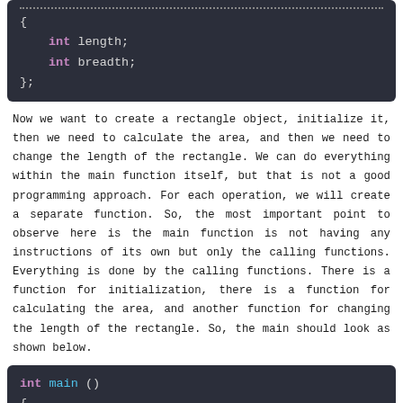[Figure (screenshot): Code block showing C struct with int length and int breadth fields, ending with };]
Now we want to create a rectangle object, initialize it, then we need to calculate the area, and then we need to change the length of the rectangle. We can do everything within the main function itself, but that is not a good programming approach. For each operation, we will create a separate function. So, the most important point to observe here is the main function is not having any instructions of its own but only the calling functions. Everything is done by the calling functions. There is a function for initialization, there is a function for calculating the area, and another function for changing the length of the rectangle. So, the main should look as shown below.
[Figure (screenshot): Code block showing int main() function with struct Rectangle r, Initialize(&r, 10, 5), Area(r) calls]